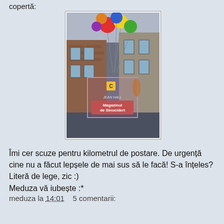copertă:
[Figure (photo): Book cover photo of 'Magazinul de Sinucideri' by Jean Hall, showing a street scene with colorful balloons floating above, brick buildings, and a book cover featuring the title in a pink/purple rectangle overlay.]
Îmi cer scuze pentru kilometrul de postare. De urgență cine nu a făcut lepșele de mai sus să le facă! S-a înțeles? Literă de lege, zic :)
Meduza vă iubește :*
meduza la 14:01    5 comentarii:
Distribuiți